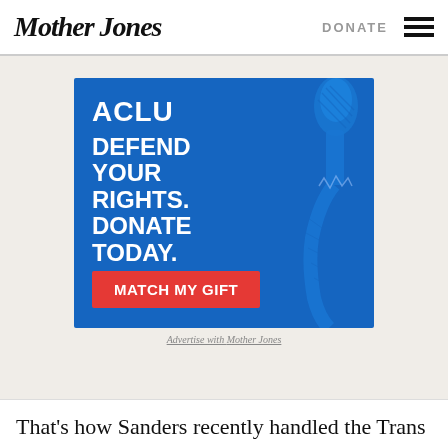Mother Jones | DONATE
[Figure (illustration): ACLU advertisement on blue background with Statue of Liberty torch illustration. Text reads: ACLU, DEFEND YOUR RIGHTS. DONATE TODAY. with a red MATCH MY GIFT button.]
Advertise with Mother Jones
That's how Sanders recently handled the Trans